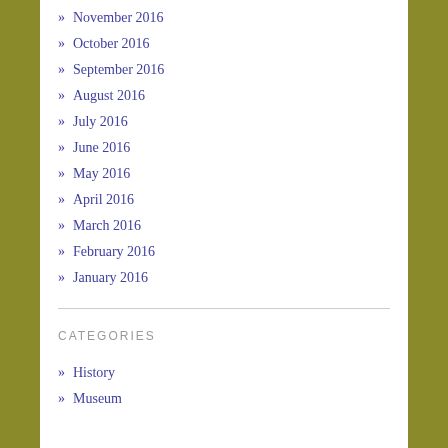» November 2016
» October 2016
» September 2016
» August 2016
» July 2016
» June 2016
» May 2016
» April 2016
» March 2016
» February 2016
» January 2016
CATEGORIES
» History
» Museum